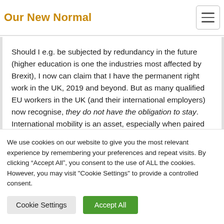Our New Normal
Should I e.g. be subjected by redundancy in the future (higher education is one the industries most affected by Brexit), I now can claim that I have the permanent right work in the UK, 2019 and beyond. But as many qualified EU workers in the UK (and their international employers) now recognise, they do not have the obligation to stay. International mobility is an asset, especially when paired with the transferable workplace skills and the languages to
We use cookies on our website to give you the most relevant experience by remembering your preferences and repeat visits. By clicking “Accept All”, you consent to the use of ALL the cookies. However, you may visit "Cookie Settings" to provide a controlled consent.